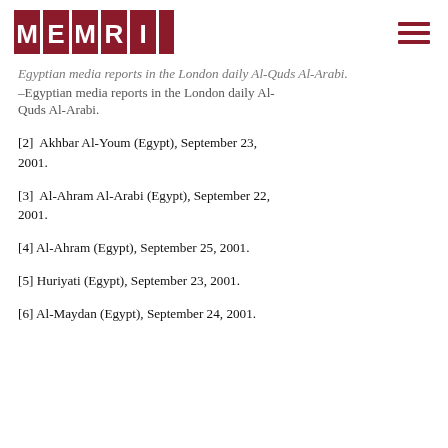MEMRI
Egyptian media reports in the London daily Al-Quds Al-Arabi.
[2] Akhbar Al-Youm (Egypt), September 23, 2001.
[3] Al-Ahram Al-Arabi (Egypt), September 22, 2001.
[4] Al-Ahram (Egypt), September 25, 2001.
[5] Huriyati (Egypt), September 23, 2001.
[6] Al-Maydan (Egypt), September 24, 2001.